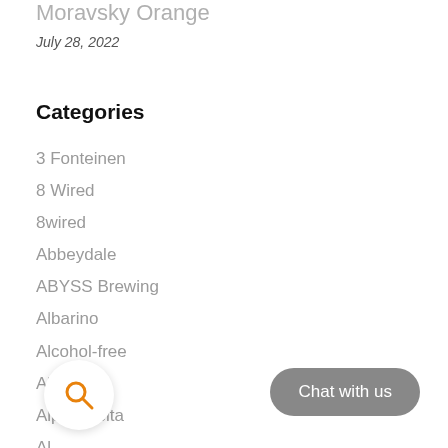Moravsky Orange
July 28, 2022
Categories
3 Fonteinen
8 Wired
8wired
Abbeydale
ABYSS Brewing
Albarino
Alcohol-free
Almasty
Alpha Delta
Al…
A…